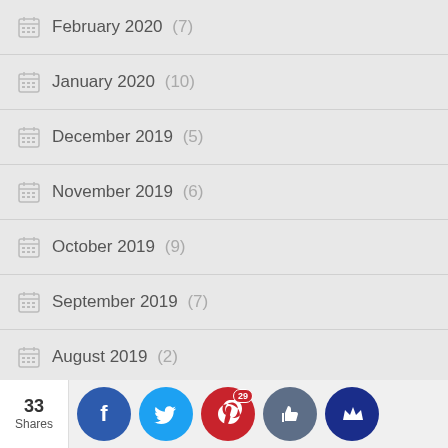February 2020 (7)
January 2020 (10)
December 2019 (5)
November 2019 (6)
October 2019 (9)
September 2019 (7)
August 2019 (2)
July 2019 (5)
June 2019 (5)
May 20... (shares bar visible)
33 Shares